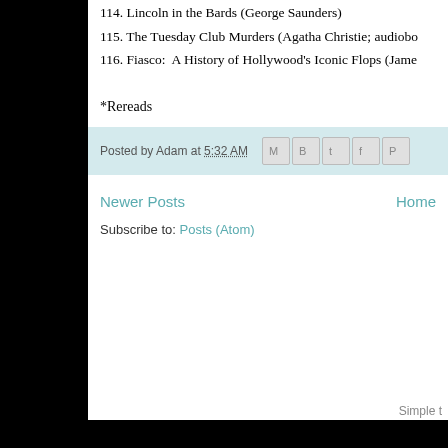114. Lincoln in the Bards (George Saunders)
115. The Tuesday Club Murders (Agatha Christie; audiobo…)
116. Fiasco:  A History of Hollywood's Iconic Flops (Jame…)
*Rereads
Posted by Adam at 5:32 AM
Newer Posts
Home
Subscribe to: Posts (Atom)
Simple t…